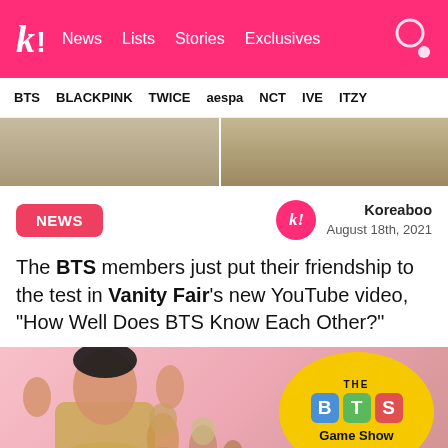k! News Lists Stories Exclusives
BTS BLACKPINK TWICE aespa NCT IVE ITZY
[Figure (photo): Two partial photos of people side by side, showing clothing/torsos in neutral colors]
NEWS
Koreaboo
August 18th, 2021
The BTS members just put their friendship to the test in Vanity Fair's new YouTube video, “How Well Does BTS Know Each Other?”
[Figure (photo): BTS member Jungkook raising hands against pink background with a yellow circular badge showing 'THE BTS Game Show' with colorful block letters, and other BTS members visible in background]